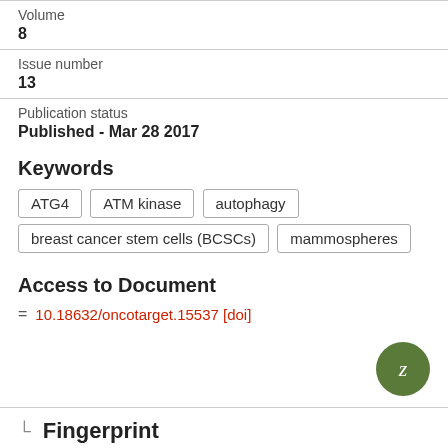Volume
8
Issue number
13
Publication status
Published - Mar 28 2017
Keywords
ATG4
ATM kinase
autophagy
breast cancer stem cells (BCSCs)
mammospheres
Access to Document
= 10.18632/oncotarget.15537 [doi]
Fingerprint